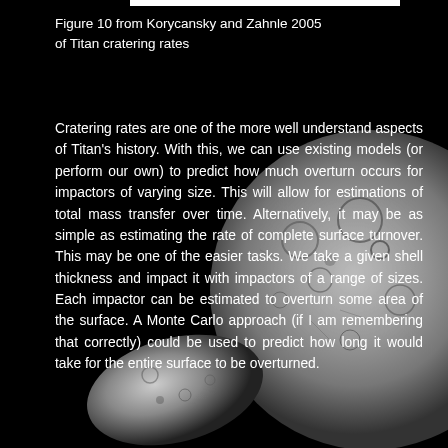[Figure (photo): Black background with a grayscale image of Titan and a smaller moon or asteroid in the lower-left, showing cratered surfaces against a dark space background.]
Figure 10 from Korycansky and Zahnle 2005 of Titan cratering rates
Cratering rates are one of the more well understand aspects of Titan's history. With this, we can use existing models (or perform our own) to predict how much overturn occurs for impactors of varying size. This will allow for estimations of total mass transfer over time. Alternatively, it may be as simple as estimating the rate of complete surface turnover. This may be one of the easier tasks. We take a given shell thickness and impact it with impactors of a range of sizes. Each impactor can be estimated to overturn some area of the surface. A Monte Carlo approach (if I am remembering that correctly) could be used to predict how long it would take for the entire surface to be overturned.